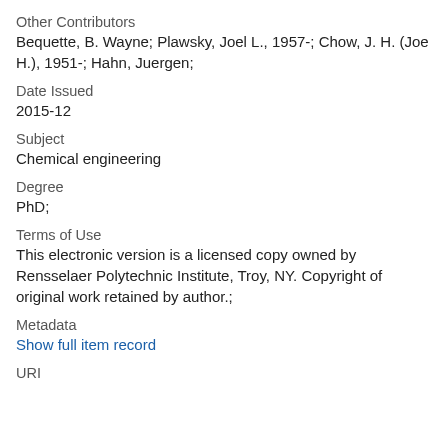Other Contributors
Bequette, B. Wayne; Plawsky, Joel L., 1957-; Chow, J. H. (Joe H.), 1951-; Hahn, Juergen;
Date Issued
2015-12
Subject
Chemical engineering
Degree
PhD;
Terms of Use
This electronic version is a licensed copy owned by Rensselaer Polytechnic Institute, Troy, NY. Copyright of original work retained by author.;
Metadata
Show full item record
URI